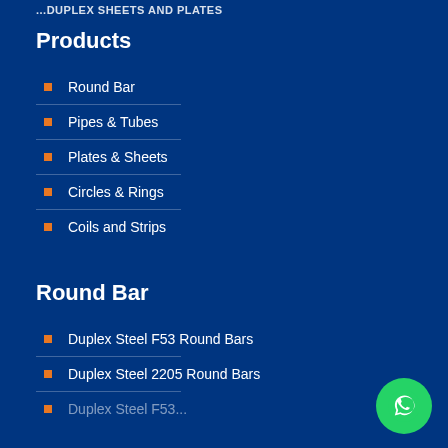...DUPLEX SHEETS AND PLATES
Products
Round Bar
Pipes & Tubes
Plates & Sheets
Circles & Rings
Coils and Strips
Round Bar
Duplex Steel F53 Round Bars
Duplex Steel 2205 Round Bars
Duplex Steel F53 Round Bars (partial)